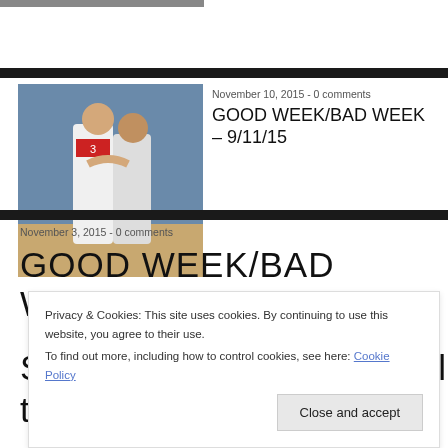[Figure (photo): Cropped top portion of a basketball players photo]
[Figure (photo): Two NBA basketball players in white and red uniforms hugging or greeting on a court with crowd in background]
November 10, 2015 - 0 comments
GOOD WEEK/BAD WEEK – 9/11/15
November 3, 2015 - 0 comments
GOOD WEEK/BAD WEEK
Privacy & Cookies: This site uses cookies. By continuing to use this website, you agree to their use.
To find out more, including how to control cookies, see here: Cookie Policy
Close and accept